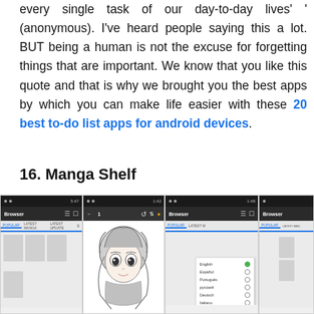every single task of our day-to-day lives' ' (anonymous). I've heard people saying this a lot. BUT being a human is not the excuse for forgetting things that are important. We know that you like this quote and that is why we brought you the best apps by which you can make life easier with these 20 best to-do list apps for android devices.
16. Manga Shelf
[Figure (screenshot): Four side-by-side screenshots of an Android app called Manga Shelf, showing Browser interface, manga artwork of an anime girl, a language selection dropdown (English, Español, Português, русский, Deutsch, Italiano, Anime), and another Browser screen.]